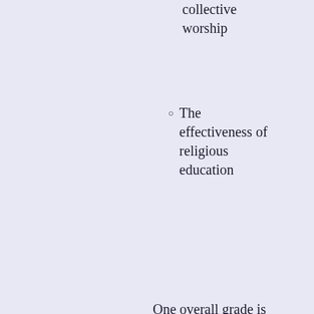collective worship
The effectiveness of religious education
One overall grade is awarded reflecting the contribution of these strands to the flourishing of pupils and adults in a church school. In addition, a standalone grade is awarded in all schools for collective worship